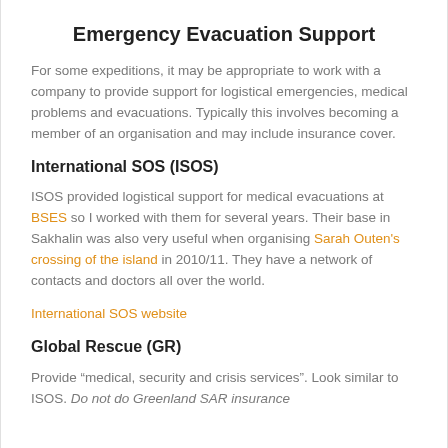Emergency Evacuation Support
For some expeditions, it may be appropriate to work with a company to provide support for logistical emergencies, medical problems and evacuations. Typically this involves becoming a member of an organisation and may include insurance cover.
International SOS (ISOS)
ISOS provided logistical support for medical evacuations at BSES so I worked with them for several years. Their base in Sakhalin was also very useful when organising Sarah Outen's crossing of the island in 2010/11. They have a network of contacts and doctors all over the world.
International SOS website
Global Rescue (GR)
Provide “medical, security and crisis services”. Look similar to ISOS. Do not do Greenland SAR insurance